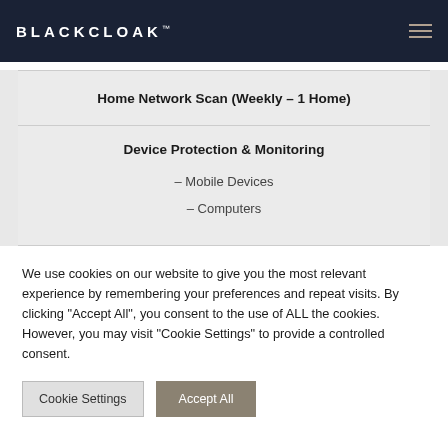BLACKCLOAK™
Home Network Scan (Weekly – 1 Home)
Device Protection & Monitoring
– Mobile Devices
– Computers
We use cookies on our website to give you the most relevant experience by remembering your preferences and repeat visits. By clicking "Accept All", you consent to the use of ALL the cookies. However, you may visit "Cookie Settings" to provide a controlled consent.
Cookie Settings | Accept All